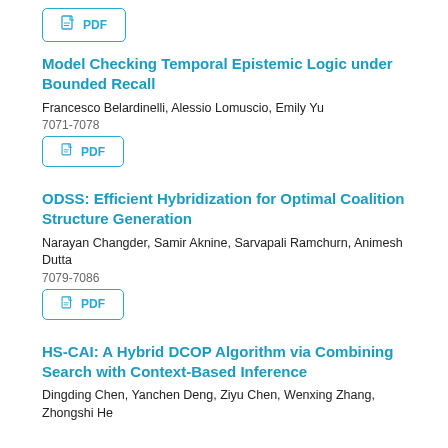[Figure (other): Partial PDF button stub at top of page (cropped from previous entry)]
Model Checking Temporal Epistemic Logic under Bounded Recall
Francesco Belardinelli, Alessio Lomuscio, Emily Yu
7071-7078
[Figure (other): PDF download button for first article]
ODSS: Efficient Hybridization for Optimal Coalition Structure Generation
Narayan Changder, Samir Aknine, Sarvapali Ramchurn, Animesh Dutta
7079-7086
[Figure (other): PDF download button for second article]
HS-CAI: A Hybrid DCOP Algorithm via Combining Search with Context-Based Inference
Dingding Chen, Yanchen Deng, Ziyu Chen, Wenxing Zhang, Zhongshi He